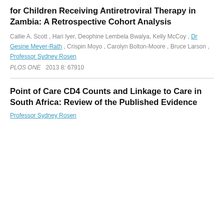for Children Receiving Antiretroviral Therapy in Zambia: A Retrospective Cohort Analysis
Callie A. Scott , Hari Iyer, Deophine Lembela Bwalya, Kelly McCoy , Dr Gesine Meyer-Rath , Crispin Moyo , Carolyn Bolton-Moore , Bruce Larson , Professor Sydney Rosen
PLOS ONE  2013 8: 67910
Point of Care CD4 Counts and Linkage to Care in South Africa: Review of the Published Evidence
Professor Sydney Rosen